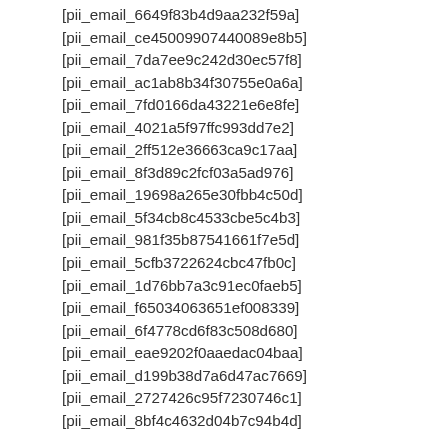[pii_email_6649f83b4d9aa232f59a]
[pii_email_ce45009907440089e8b5]
[pii_email_7da7ee9c242d30ec57f8]
[pii_email_ac1ab8b34f30755e0a6a]
[pii_email_7fd0166da43221e6e8fe]
[pii_email_4021a5f97ffc993dd7e2]
[pii_email_2ff512e36663ca9c17aa]
[pii_email_8f3d89c2fcf03a5ad976]
[pii_email_19698a265e30fbb4c50d]
[pii_email_5f34cb8c4533cbe5c4b3]
[pii_email_981f35b87541661f7e5d]
[pii_email_5cfb3722624cbc47fb0c]
[pii_email_1d76bb7a3c91ec0faeb5]
[pii_email_f65034063651ef008339]
[pii_email_6f4778cd6f83c508d680]
[pii_email_eae9202f0aaedac04baa]
[pii_email_d199b38d7a6d47ac7669]
[pii_email_2727426c95f7230746c1]
[pii_email_8bf4c4632d04b7c94b4d]